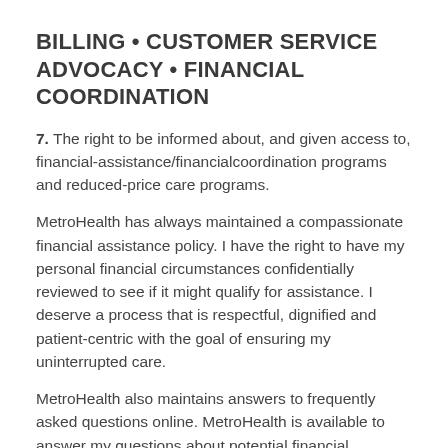BILLING • CUSTOMER SERVICE ADVOCACY • FINANCIAL COORDINATION
7. The right to be informed about, and given access to, financial-assistance/financialcoordination programs and reduced-price care programs.
MetroHealth has always maintained a compassionate financial assistance policy. I have the right to have my personal financial circumstances confidentially reviewed to see if it might qualify for assistance. I deserve a process that is respectful, dignified and patient-centric with the goal of ensuring my uninterrupted care.
MetroHealth also maintains answers to frequently asked questions online. MetroHealth is available to answer my questions about potential financial assistance programs via phone at 216-957-2325